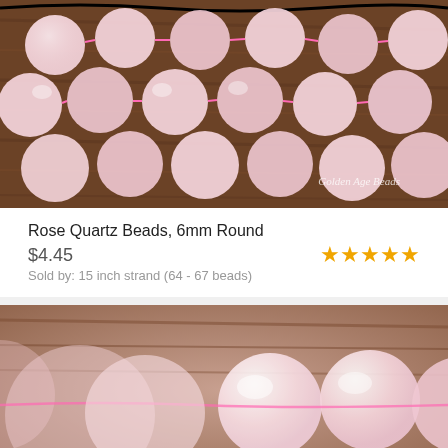[Figure (photo): Close-up photo of rose quartz beads on a 15 inch strand, pink round beads on a wooden surface, with 'Golden Age Beads' watermark in cursive]
Rose Quartz Beads, 6mm Round
$4.45
Sold by: 15 inch strand (64 - 67 beads)
[Figure (photo): Close-up photo of rose quartz round beads on a strand, blurred bokeh background with wooden surface, pink and white translucent beads]